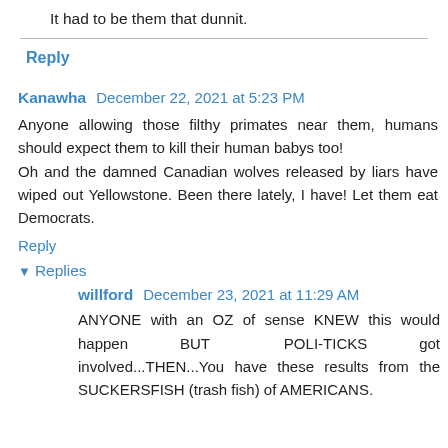It had to be them that dunnit.
Reply
Kanawha  December 22, 2021 at 5:23 PM
Anyone allowing those filthy primates near them, humans should expect them to kill their human babys too!
Oh and the damned Canadian wolves released by liars have wiped out Yellowstone. Been there lately, I have! Let them eat Democrats.
Reply
▾ Replies
willford  December 23, 2021 at 11:29 AM
ANYONE with an OZ of sense KNEW this would happen BUT POLI-TICKS got involved...THEN...You have these results from the SUCKERSFISH (trash fish) of AMERICANS.